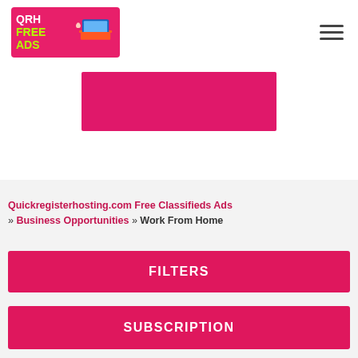[Figure (logo): QRH Free Ads logo — pink/magenta background with white bold text 'QRH FREE ADS' and a laptop illustration]
[Figure (other): Hamburger menu icon (three horizontal lines)]
[Figure (other): Pink/magenta rectangular banner placeholder]
Quickregisterhosting.com Free Classifieds Ads » Business Opportunities  » Work From Home
FILTERS
SUBSCRIPTION